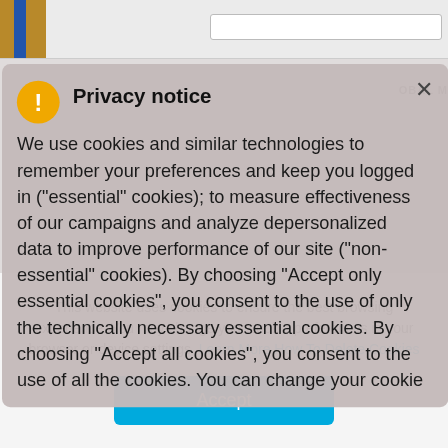[Figure (screenshot): Background website with top navigation bar, gold and blue logo block, search bar, and partial text snippets including 'OBAL M', 'SSANCE', 'STA' visible behind the privacy modal overlay]
Privacy notice
We use cookies and similar technologies to remember your preferences and keep you logged in (“essential” cookies); to measure effectiveness of our campaigns and analyze depersonalized data to improve performance of our site (“non-essential” cookies). By choosing “Accept only essential cookies”, you consent to the use of only the technically necessary essential cookies. By choosing “Accept all cookies”, you consent to the use of all the cookies. You can change your cookie
This website uses cookies to ensure the best browsing experience. You may change your cookie preferences in your browser or device settings. Learn More How To Delete Cookies
Accept